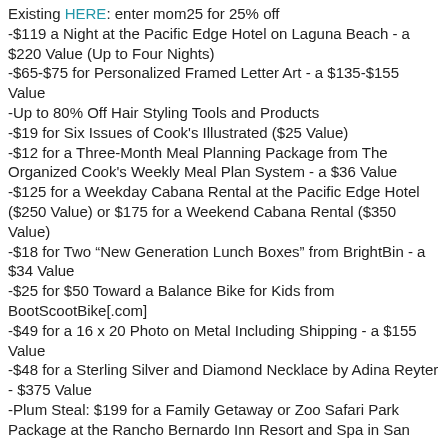Existing HERE: enter mom25 for 25% off
-$119 a Night at the Pacific Edge Hotel on Laguna Beach - a $220 Value (Up to Four Nights)
-$65-$75 for Personalized Framed Letter Art - a $135-$155 Value
-Up to 80% Off Hair Styling Tools and Products
-$19 for Six Issues of Cook's Illustrated ($25 Value)
-$12 for a Three-Month Meal Planning Package from The Organized Cook's Weekly Meal Plan System - a $36 Value
-$125 for a Weekday Cabana Rental at the Pacific Edge Hotel ($250 Value) or $175 for a Weekend Cabana Rental ($350 Value)
-$18 for Two "New Generation Lunch Boxes" from BrightBin - a $34 Value
-$25 for $50 Toward a Balance Bike for Kids from BootScootBike[.com]
-$49 for a 16 x 20 Photo on Metal Including Shipping - a $155 Value
-$48 for a Sterling Silver and Diamond Necklace by Adina Reyter - $375 Value
-Plum Steal: $199 for a Family Getaway or Zoo Safari Park Package at the Rancho Bernardo Inn Resort and Spa in San